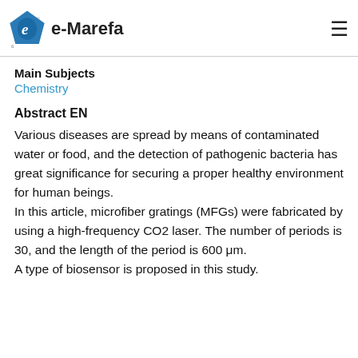e-Marefa
Main Subjects
Chemistry
Abstract EN
Various diseases are spread by means of contaminated water or food, and the detection of pathogenic bacteria has great significance for securing a proper healthy environment for human beings.
In this article, microfiber gratings (MFGs) were fabricated by using a high-frequency CO2 laser. The number of periods is 30, and the length of the period is 600 μm.
A type of biosensor is proposed in this study.